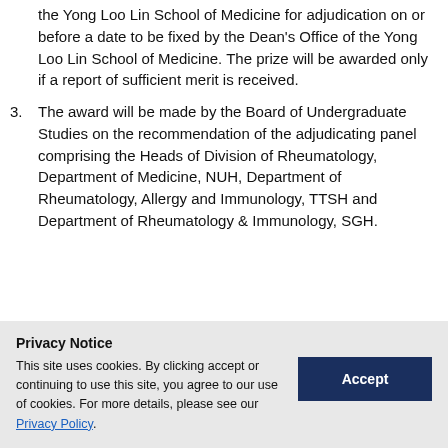the Yong Loo Lin School of Medicine for adjudication on or before a date to be fixed by the Dean's Office of the Yong Loo Lin School of Medicine. The prize will be awarded only if a report of sufficient merit is received.
3. The award will be made by the Board of Undergraduate Studies on the recommendation of the adjudicating panel comprising the Heads of Division of Rheumatology, Department of Medicine, NUH, Department of Rheumatology, Allergy and Immunology, TTSH and Department of Rheumatology & Immunology, SGH.
Privacy Notice
This site uses cookies. By clicking accept or continuing to use this site, you agree to our use of cookies. For more details, please see our Privacy Policy.